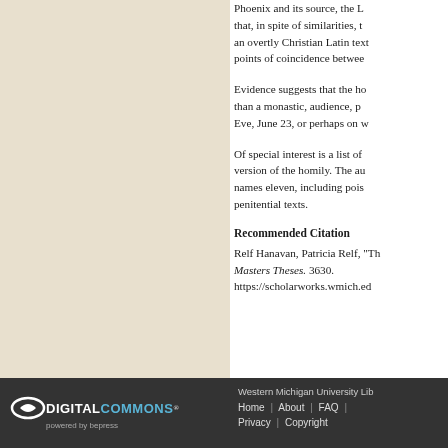Phoenix and its source, the Lactantius, noting that, in spite of similarities, the Old English poem is not an overtly Christian Latin text, but identifying twelve points of coincidence between the two poems.
Evidence suggests that the homily had a secular, rather than a monastic, audience, perhaps delivered on Midsummer Eve, June 23, or perhaps on winter solstice.
Of special interest is a list of sins appended to one version of the homily. The author of this appended list names eleven, including poisoning, found also in Anglo-Saxon penitential texts.
Recommended Citation
Relf Hanavan, Patricia Relf, "Th... Masters Theses. 3630. https://scholarworks.wmich.ed...
[Figure (logo): Digital Commons powered by bepress logo in white and blue on dark background]
Western Michigan University Lib... Home | About | FAQ | ... Privacy | Copyright